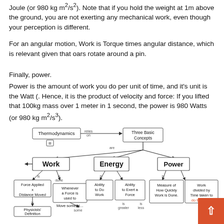Joule (or 980 kg m²/s²). Note that if you hold the weight at 1m above the ground, you are not exerting any mechanical work, even though your perception is different.
For an angular motion, Work is Torque times angular distance, which is relevant given that oars rotate around a pin.
Finally, power.
Power is the amount of work you do per unit of time, and it's unit is the Watt (. Hence, it is the product of velocity and force: If you lifted that 100kg mass over 1 meter in 1 second, the power is 980 Watts (or 980 kg m²/s³).
[Figure (flowchart): Concept map showing Thermodynamics relies on Three Basic Concepts: Work, Energy, and Power. Work is Force Applied x Distance Moved (is Physicists' Definition), and is done Whenever a Force is used to Move something. Energy is Ability to Do Work and Ability to Exert a Force. Power is Measure of How Quickly Work is Done and Work divided by Time taken to do the Work.]